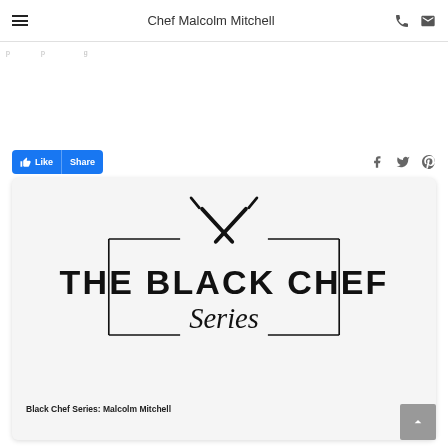Chef Malcolm Mitchell
p p g
[Figure (other): Facebook Like and Share buttons, and social media icons (Facebook, Twitter, Pinterest)]
[Figure (logo): The Black Chef Series logo with crossed utensils and decorative border rectangle]
Black Chef Series: Malcolm Mitchell